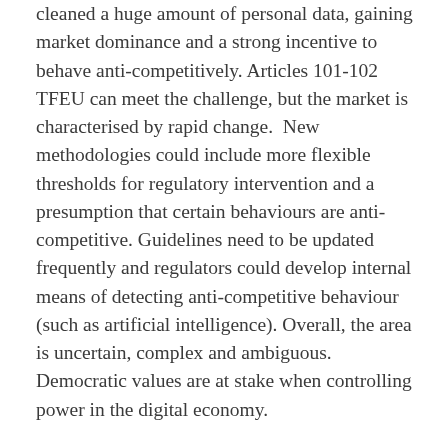cleaned a huge amount of personal data, gaining market dominance and a strong incentive to behave anti-competitively. Articles 101-102 TFEU can meet the challenge, but the market is characterised by rapid change.  New methodologies could include more flexible thresholds for regulatory intervention and a presumption that certain behaviours are anti-competitive. Guidelines need to be updated frequently and regulators could develop internal means of detecting anti-competitive behaviour (such as artificial intelligence). Overall, the area is uncertain, complex and ambiguous. Democratic values are at stake when controlling power in the digital economy.
That evening, we reunited with our Polish hosts for a fabulous dinner on the seafront in Sopot, just outside Gdańsk. After dinner, Lord Lloyd-Jones gave the keynote speech, a timely review of EU law's far-reaching influence on the English and Welsh legal system. Indeed, delegates'